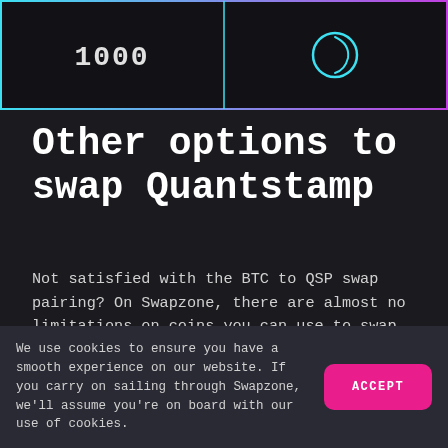[Figure (screenshot): Dark UI widget showing '1000' on the left panel and a cyan circular icon on the right panel, with teal-to-purple gradient border]
Other options to swap Quantstamp
Not satisfied with the BTC to QSP swap pairing? On Swapzone, there are almost no limitations on coins you can use to swap Quantstamp. You can select any crypto pair and take advantage of the best rates and quick transactions.
POPULAR  PRIVATE  STABLE  OTHER
We use cookies to ensure you have a smooth experience on our website. If you carry on sailing through Swapzone, we'll assume you're on board with our use of cookies.